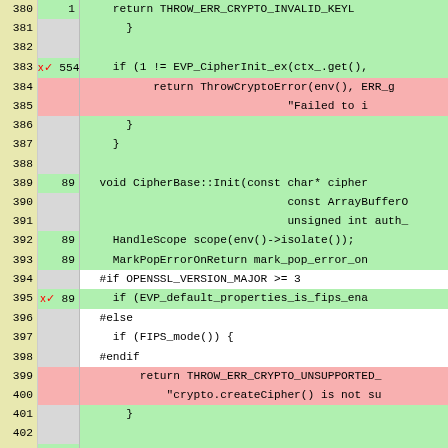[Figure (screenshot): Code coverage view of C++ source file showing line numbers (380-405), coverage hit counts, and code content. Green background rows are covered, pink background rows are uncovered. Lines shown include CipherBase::Init function and related crypto code. Red x✓ markers appear on certain covered lines.]